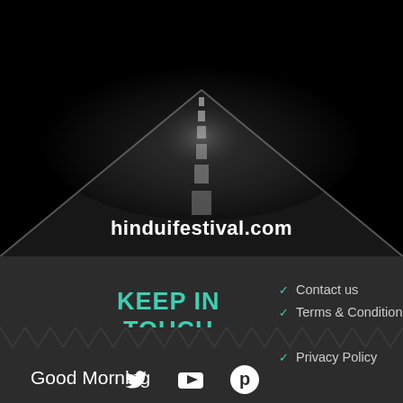[Figure (photo): Dark road perspective photo with vanishing point in center, black and white, dashed center line visible, set against black background. Text 'hinduifestival.com' at bottom in white bold.]
hinduifestival.com
KEEP IN TOUCH
Contact us
Terms & Condition
Disclaimer
Privacy Policy
[Figure (illustration): Three social media icons in white on dark background: Twitter bird, YouTube play button, Pinterest P logo]
Good Morning